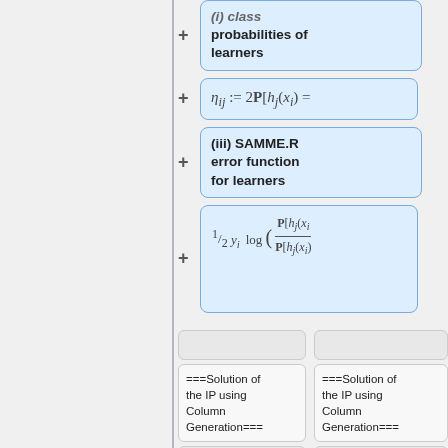(i) class probabilities of learners
(iii) SAMME.R error function for learners
===Solution of the IP using Column Generation===
===Solution of the IP using Column Generation===
The goal of
The goal of